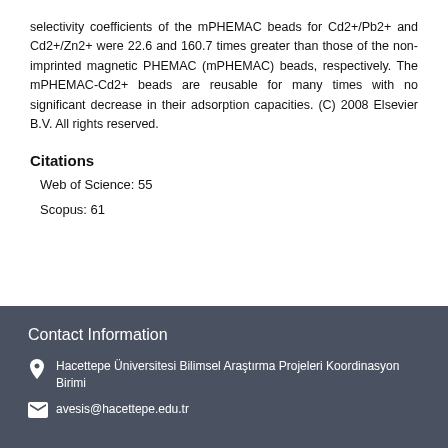selectivity coefficients of the mPHEMAC beads for Cd2+/Pb2+ and Cd2+/Zn2+ were 22.6 and 160.7 times greater than those of the non-imprinted magnetic PHEMAC (mPHEMAC) beads, respectively. The mPHEMAC-Cd2+ beads are reusable for many times with no significant decrease in their adsorption capacities. (C) 2008 Elsevier B.V. All rights reserved.
Citations
Web of Science: 55
Scopus: 61
Contact Information
Hacettepe Üniversitesi Bilimsel Araştırma Projeleri Koordinasyon Birimi
avesis@hacettepe.edu.tr